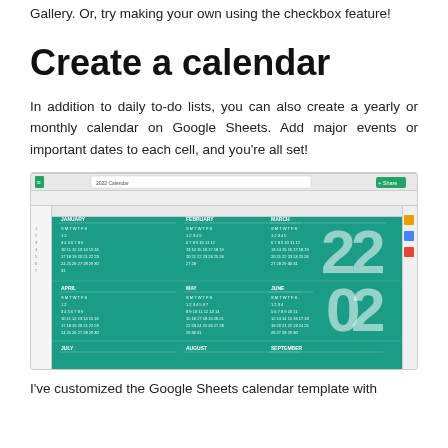Gallery. Or, try making your own using the checkbox feature!
Create a calendar
In addition to daily to-do lists, you can also create a yearly or monthly calendar on Google Sheets. Add major events or important dates to each cell, and you’re all set!
[Figure (screenshot): Screenshot of Google Sheets showing a 2022 calendar template with teal/green background, displaying months January through September in a grid layout with the year '2022' displayed prominently on the right side in large white text.]
I’ve customized the Google Sheets calendar template with